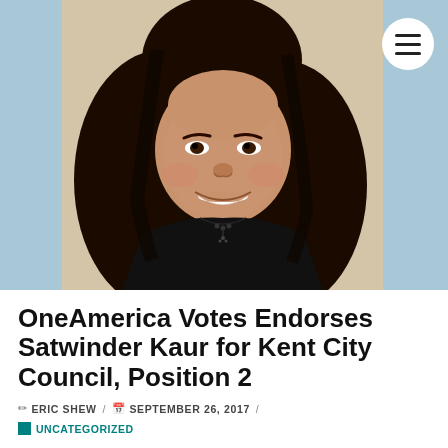[Figure (photo): Portrait photo of Satwinder Kaur, a young woman with long dark wavy hair, wearing a black top and a dark beaded necklace, smiling at the camera against a light background]
OneAmerica Votes Endorses Satwinder Kaur for Kent City Council, Position 2
ERIC SHEW / SEPTEMBER 26, 2017 / UNCATEGORIZED